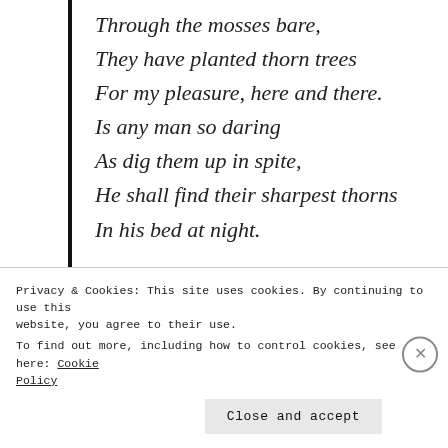Through the mosses bare,
They have planted thorn trees
For my pleasure, here and there.
Is any man so daring
As dig them up in spite,
He shall find their sharpest thorns
In his bed at night.

Up the airy mountain,
Down the rushy glen,
We daren't go a-hunting
Privacy & Cookies: This site uses cookies. By continuing to use this website, you agree to their use.
To find out more, including how to control cookies, see here: Cookie Policy